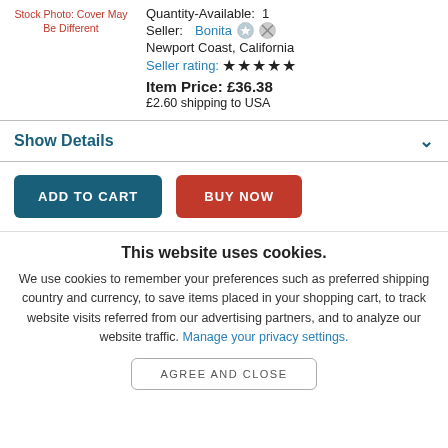Stock Photo: Cover May Be Different
Quantity-Available: 1
Seller: Bonita
Newport Coast, California
Seller rating: ★★★★★
Item Price: £36.38
£2.60 shipping to USA
Show Details
ADD TO CART
BUY NOW
This website uses cookies.
We use cookies to remember your preferences such as preferred shipping country and currency, to save items placed in your shopping cart, to track website visits referred from our advertising partners, and to analyze our website traffic. Manage your privacy settings.
AGREE AND CLOSE